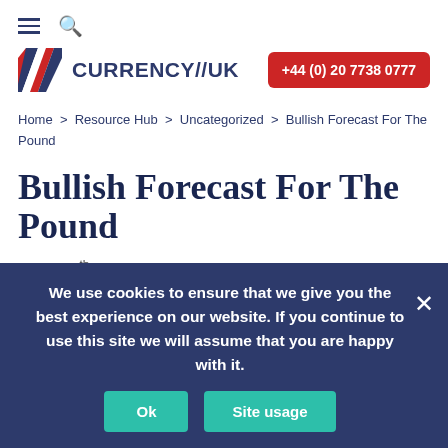≡ 🔍
[Figure (logo): Currency//UK logo with red and blue diagonal stripe flag icon and dark blue bold text CURRENCY//UK]
+44 (0) 20 7738 0777
Home > Resource Hub > Uncategorized > Bullish Forecast For The Pound
Bullish Forecast For The Pound
January 7th
🕐 1 minute read
We use cookies to ensure that we give you the best experience on our website. If you continue to use this site we will assume that you are happy with it. Ok  Site usage